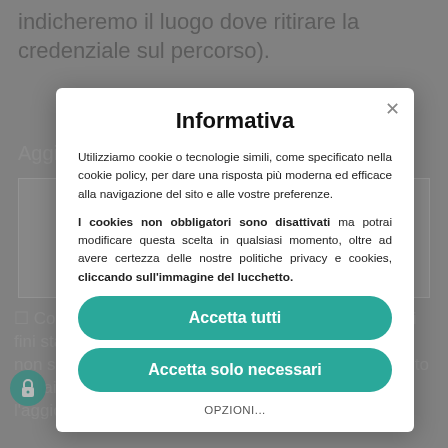indicheremo il luogo dove ritirare la credenziale sul percorso).
Aggiungi un messaggio
[Figure (screenshot): Cookie consent modal dialog in Italian with title 'Informativa', body text about cookie policy, 'Accetta tutti' button, 'Accetta solo necessari' button, and 'OPZIONI...' link]
Consenso * I dati personali saranno utilizzati ai soli fini statistici e limitatamente alle finalità associative, e non saranno comunicati a terzi. In qualunque momento potrai richiedere la conferma, la cancellazione, l'aggiornamento, la
Informativa
Utilizziamo cookie o tecnologie simili, come specificato nella cookie policy, per dare una risposta più moderna ed efficace alla navigazione del sito e alle vostre preferenze.
I cookies non obbligatori sono disattivati ma potrai modificare questa scelta in qualsiasi momento, oltre ad avere certezza delle nostre politiche privacy e cookies, cliccando sull'immagine del lucchetto.
Accetta tutti
Accetta solo necessari
OPZIONI...